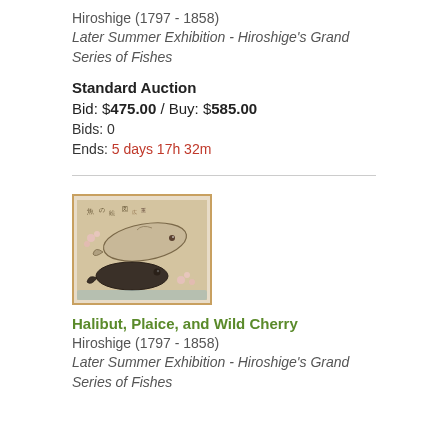Hiroshige (1797 - 1858)
Later Summer Exhibition - Hiroshige's Grand Series of Fishes
Standard Auction
Bid: $475.00 / Buy: $585.00
Bids: 0
Ends: 5 days 17h 32m
[Figure (photo): Japanese woodblock print showing two fish (halibut and plaice) with wild cherry blossoms, beige/tan background with Japanese calligraphy text at top, dark fish at bottom, lighter fish arc above]
Halibut, Plaice, and Wild Cherry
Hiroshige (1797 - 1858)
Later Summer Exhibition - Hiroshige's Grand Series of Fishes